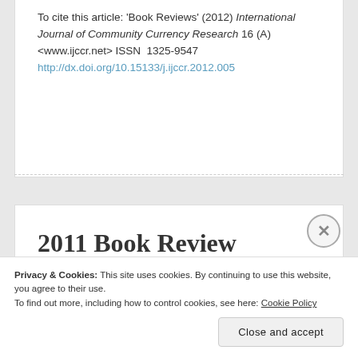To cite this article: 'Book Reviews' (2012) International Journal of Community Currency Research 16 (A) <www.ijccr.net> ISSN 1325-9547 http://dx.doi.org/10.15133/j.ijccr.2012.005
2011 Book Review Section
Privacy & Cookies: This site uses cookies. By continuing to use this website, you agree to their use. To find out more, including how to control cookies, see here: Cookie Policy
Close and accept